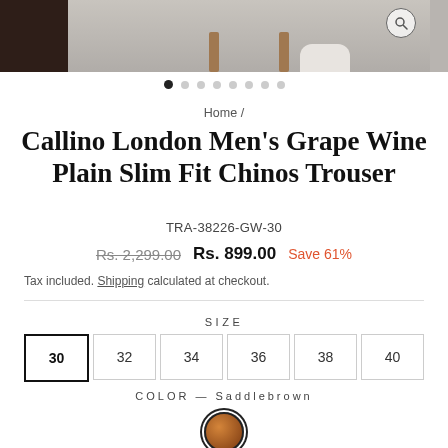[Figure (photo): Product image strip showing trousers on model, with magnify icon, three image panels visible]
● ○ ○ ○ ○ ○ ○ ○ (dot navigation, 8 dots, first active)
Home /
Callino London Men's Grape Wine Plain Slim Fit Chinos Trouser
TRA-38226-GW-30
Rs. 2,299.00  Rs. 899.00  Save 61%
Tax included. Shipping calculated at checkout.
SIZE
30  32  34  36  38  40
COLOR — Saddlebrown
[Figure (illustration): Saddlebrown circular color swatch with dark border indicating selected color]